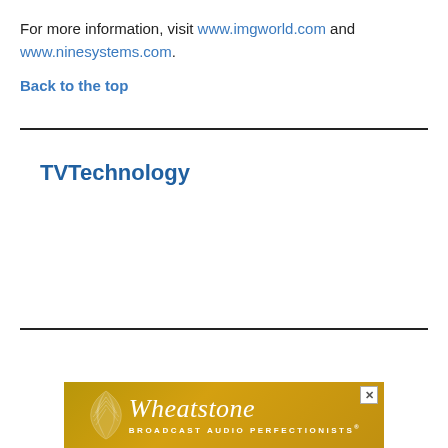For more information, visit www.imgworld.com and www.ninesystems.com.
Back to the top
TVTechnology
[Figure (other): Wheatstone Broadcast Audio Perfectionists advertisement banner with feather logo]